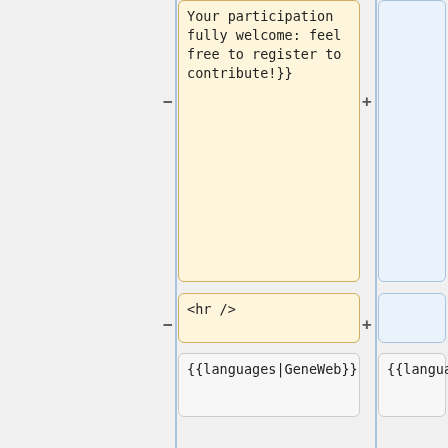Your participation fully welcome: feel free to register to contribute!}}
<hr />
{{languages|GeneWeb}}
{{languages|GeneWeb}}
{{toc right}}
{{mbox|niveau=information|titre =
[[Image:logo_main.png|center]]
|texte=The documentation of '''GeneWeb has used Mediawiki''' since October 2015. The wiki needs your help t…